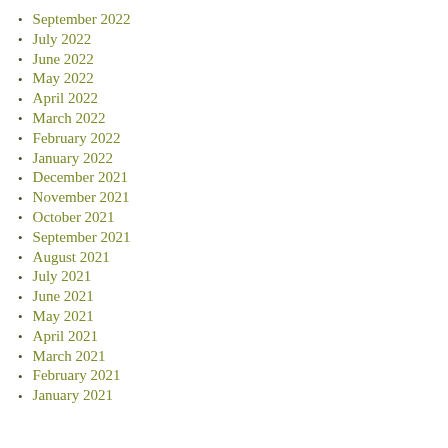September 2022
July 2022
June 2022
May 2022
April 2022
March 2022
February 2022
January 2022
December 2021
November 2021
October 2021
September 2021
August 2021
July 2021
June 2021
May 2021
April 2021
March 2021
February 2021
January 2021